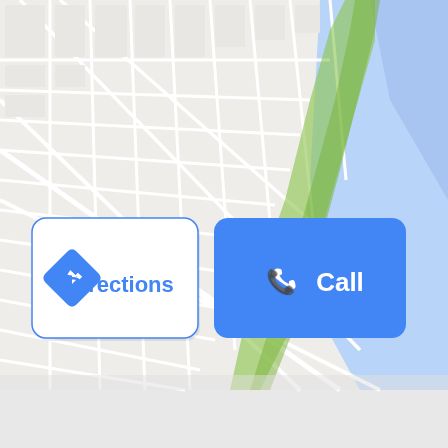[Figure (screenshot): A Google Maps interface screenshot showing a street map with city blocks and a waterfront/bay area in blue. Two action buttons are overlaid on the map: a white 'Directions' button with a blue border and blue navigation arrow icon on the left, and a solid blue 'Call' button with a white phone icon on the right. The lower portion of the page is plain light gray background.]